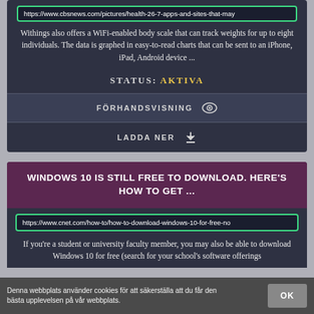https://www.cbsnews.com/pictures/health-26-7-apps-and-sites-that-may
Withings also offers a WiFi-enabled body scale that can track weights for up to eight individuals. The data is graphed in easy-to-read charts that can be sent to an iPhone, iPad, Android device ...
STATUS: AKTIVA
FÖRHANDSVISNING
LADDA NER
WINDOWS 10 IS STILL FREE TO DOWNLOAD. HERE'S HOW TO GET ...
https://www.cnet.com/how-to/how-to-download-windows-10-for-free-no
If you're a student or university faculty member, you may also be able to download Windows 10 for free (search for your school's software offerings
Denna webbplats använder cookies för att säkerställa att du får den bästa upplevelsen på vår webbplats.